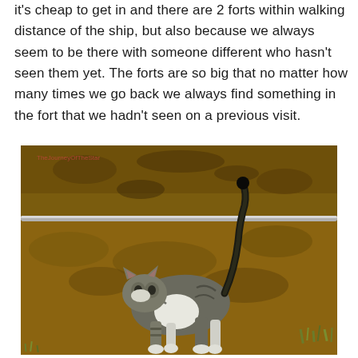it's cheap to get in and there are 2 forts within walking distance of the ship, but also because we always seem to be there with someone different who hasn't seen them yet. The forts are so big that no matter how many times we go back we always find something in the fort that we hadn't seen on a previous visit.
[Figure (photo): A tabby and white cat walking outdoors on dry earth with sparse grass, tail raised upright. A metal rail or pipe fence is visible in the background.]